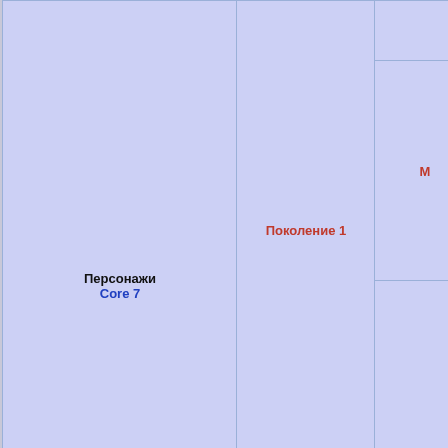[Figure (other): Treemap diagram showing categories: Персонажи / Core 7 (large block), Поколение 1, М... (top right blocks), Поколение 2, Sundance / Ivy, Поколение 3, Pinkie Pie / Wysteria / Sparklewor..., and Pinkie Pie at bottom]
Персонажи
Core 7
Поколение 1
М...
Поколение 2
Sundance • Ivy
Поколение 3
Pinkie Pie • Wysteria • Sparklewor...
Pinkie Pie